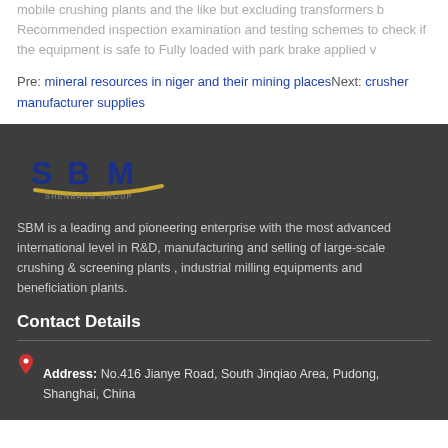mobile crushing plants and the like but excluding transformers b Recommended inspection examination and testing schemes to check if the equipment is safe to Fully loaded with park brake applied v
Pre: mineral resources in niger and their mining placesNext: crusher manufacturer supplies
[Figure (logo): SBM Shenbang Group logo with blue stylized letters and gold/yellow arc]
SBM is a leading and pioneering enterprise with the most advanced international level in R&D, manufacturing and selling of large-scale crushing & screening plants , industrial milling equipments and beneficiation plants.
Contact Details
Address: No.416 Jianye Road, South Jinqiao Area, Pudong, Shanghai, China